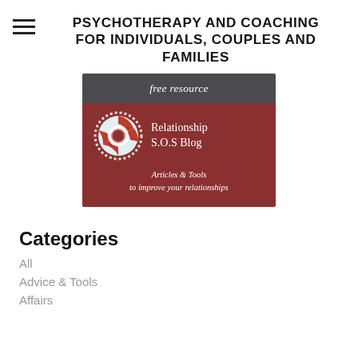PSYCHOTHERAPY AND COACHING FOR INDIVIDUALS, COUPLES AND FAMILIES
[Figure (illustration): A promotional banner with dark gray top section reading 'free resource' in italic serif font, and a dark red lower section featuring a life preserver ring (white and red) on the left, 'Relationship S.O.S Blog' text on the right, and below 'Articles & Tools to improve your relationships' in italic serif font.]
Categories
All
Advice & Tools
Affairs